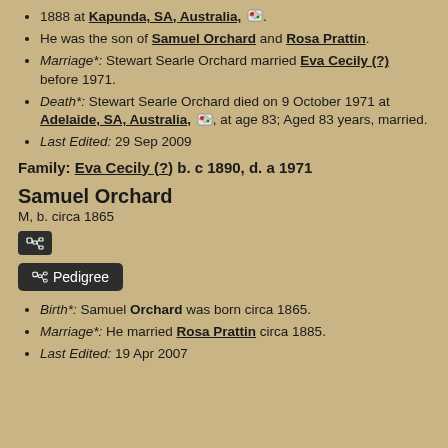1888 at Kapunda, SA, Australia, [map icon].
He was the son of Samuel Orchard and Rosa Prattin.
Marriage*: Stewart Searle Orchard married Eva Cecily (?) before 1971.
Death*: Stewart Searle Orchard died on 9 October 1971 at Adelaide, SA, Australia, [map icon], at age 83; Aged 83 years, married.
Last Edited: 29 Sep 2009
Family: Eva Cecily (?) b. c 1890, d. a 1971
Samuel Orchard
M, b. circa 1865
Birth*: Samuel Orchard was born circa 1865.
Marriage*: He married Rosa Prattin circa 1885.
Last Edited: 19 Apr 2007